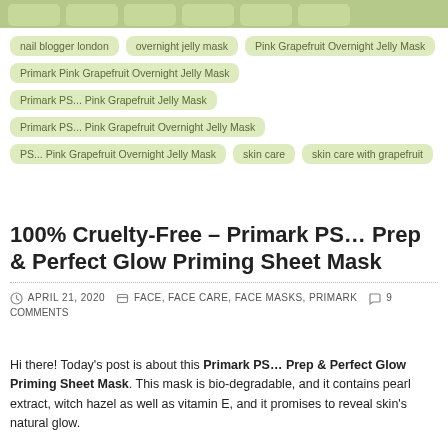[Figure (logo): Blog logo banner with green/olive colored block shapes at top of page]
nail blogger london
overnight jelly mask
Pink Grapefruit Overnight Jelly Mask
Primark Pink Grapefruit Overnight Jelly Mask
Primark PS... Pink Grapefruit Jelly Mask
Primark PS... Pink Grapefruit Overnight Jelly Mask
PS... Pink Grapefruit Overnight Jelly Mask
skin care
skin care with grapefruit
100% Cruelty-Free – Primark PS… Prep & Perfect Glow Priming Sheet Mask
APRIL 21, 2020   FACE, FACE CARE, FACE MASKS, PRIMARK   9 COMMENTS
Hi there! Today's post is about this Primark PS… Prep & Perfect Glow Priming Sheet Mask. This mask is bio-degradable, and it contains pearl extract, witch hazel as well as vitamin E, and it promises to reveal skin's natural glow.